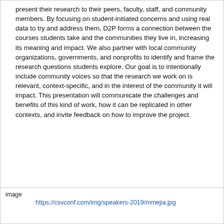present their research to their peers, faculty, staff, and community members. By focusing on student-initiated concerns and using real data to try and address them, D2P forms a connection between the courses students take and the communities they live in, increasing its meaning and impact. We also partner with local community organizations, governments, and nonprofits to identify and frame the research questions students explore. Our goal is to intentionally include community voices so that the research we work on is relevant, context-specific, and in the interest of the community it will impact. This presentation will communicate the challenges and benefits of this kind of work, how it can be replicated in other contexts, and invite feedback on how to improve the project.
[Figure (other): image placeholder with link: https://csvconf.com/img/speakers-2019/mmejia.jpg]